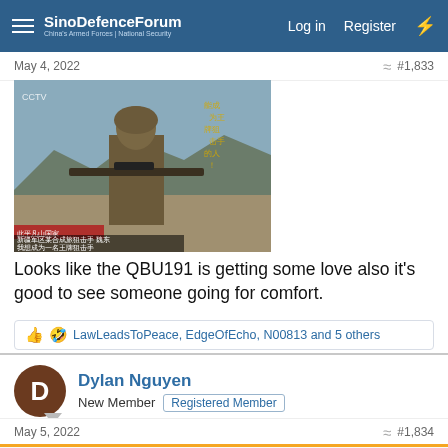SinoDefenceForum — China's Armed Forces | National Security
May 4, 2022   #1,833
[Figure (photo): Chinese military sniper in camouflage uniform holding a QBU191 sniper rifle in a mountainous desert landscape, with Chinese text overlay including subtitles about a combined arms force sniper.]
Looks like the QBU191 is getting some love also it's good to see someone going for comfort.
LawLeadsToPeace, EdgeOfEcho, N00813 and 5 others
Dylan Nguyen
New Member   Registered Member
May 5, 2022   #1,834
Saru said: